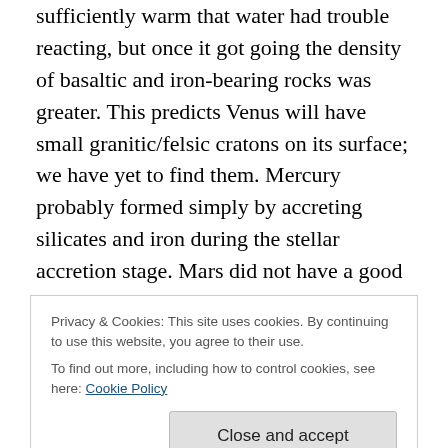sufficiently warm that water had trouble reacting, but once it got going the density of basaltic and iron-bearing rocks was greater. This predicts Venus will have small granitic/felsic cratons on its surface; we have yet to find them. Mercury probably formed simply by accreting silicates and iron during the stellar accretion stage. Mars did not have a good supply of separated aluminium oxides, so it is very short of granite/felsic rock, although the surface of Syrtis Major appears to have a thin sheet of plagioclase. Because the iron did not melt at Mars, its
Privacy & Cookies: This site uses cookies. By continuing to use this website, you agree to their use.
To find out more, including how to control cookies, see here: Cookie Policy
as an aside, may be why Mars does not have plate